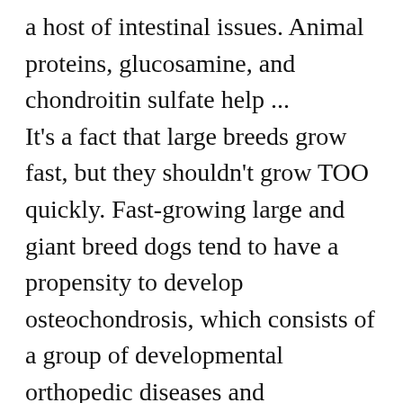a host of intestinal issues. Animal proteins, glucosamine, and chondroitin sulfate help ... It's a fact that large breeds grow fast, but they shouldn't grow TOO quickly. Fast-growing large and giant breed dogs tend to have a propensity to develop osteochondrosis, which consists of a group of developmental orthopedic diseases and malformations. However, underfeeding can force the dog's metabolism to consume muscle in an attempt to nourish itself, causing muscular issues and malformations. Dog's with skin allergies are alleviated due to the kibble being formulated without grain filers. Also, large breeds are still puppies even until they reach 24 months old. Large Breed Puppy Gold has lower protein and fat than traditional